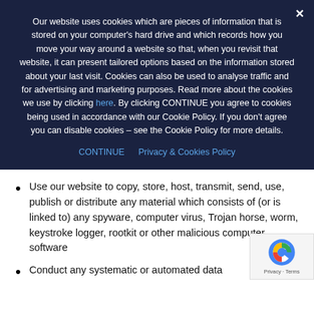Our website uses cookies which are pieces of information that is stored on your computer's hard drive and which records how you move your way around a website so that, when you revisit that website, it can present tailored options based on the information stored about your last visit. Cookies can also be used to analyse traffic and for advertising and marketing purposes. Read more about the cookies we use by clicking here. By clicking CONTINUE you agree to cookies being used in accordance with our Cookie Policy. If you don't agree you can disable cookies – see the Cookie Policy for more details.
CONTINUE   Privacy & Cookies Policy
Use our website to copy, store, host, transmit, send, use, publish or distribute any material which consists of (or is linked to) any spyware, computer virus, Trojan horse, worm, keystroke logger, rootkit or other malicious computer software
Conduct any systematic or automated data